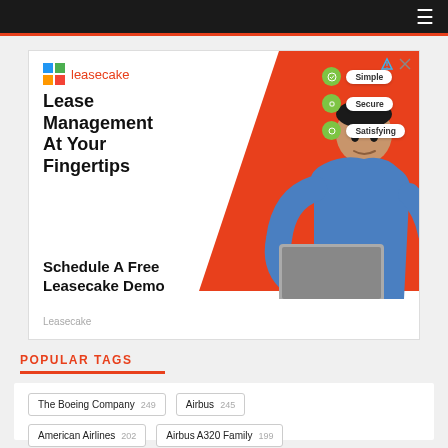Navigation bar with hamburger menu
[Figure (advertisement): Leasecake advertisement: Lease Management At Your Fingertips. Schedule A Free Leasecake Demo. Shows a man with laptop, green pills labeled Simple, Secure, Satisfying.]
POPULAR TAGS
The Boeing Company 249 | Airbus 245 | American Airlines 202 | Airbus A320 Family 199